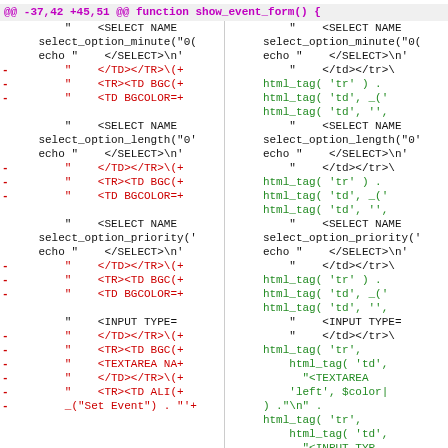[Figure (screenshot): A unified diff view of source code changes in the show_event_form() function, shown in a two-column diff format. Left column shows removed lines (red, prefixed with -), right column shows added lines (green). Code involves HTML SELECT elements, html_tag() function calls, TEXTAREA, and INPUT TYPE elements.]